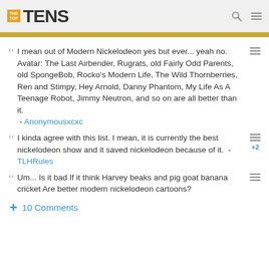THE TOP TENS
I mean out of Modern Nickelodeon yes but ever... yeah no. Avatar: The Last Airbender, Rugrats, old Fairly Odd Parents, old SpongeBob, Rocko's Modern Life, The Wild Thornberries, Ren and Stimpy, Hey Arnold, Danny Phantom, My Life As A Teenage Robot, Jimmy Neutron, and so on are all better than it. - Anonymousxcxc
I kinda agree with this list. I mean, it is currently the best nickelodeon show and it saved nickelodeon because of it. - TLHRules
Um... Is it bad If it think Harvey beaks and pig goat banana cricket Are better modern nickelodeon cartoons?
+ 10 Comments